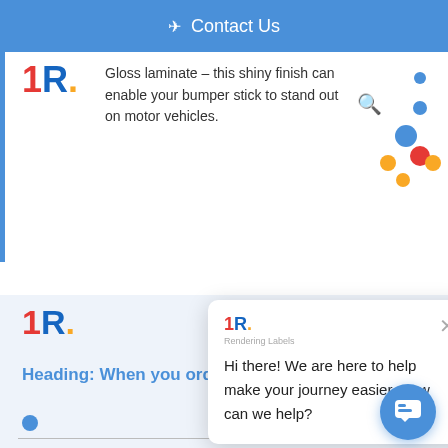Contact Us
Gloss laminate – this shiny finish can enable your bumper stick to stand out on motor vehicles.
[Figure (logo): Rendering Labels logo: '1R.' with red 1, blue R, yellow dot]
[Figure (logo): Rendering Labels logo second instance]
Heading: When you order
Hi there! We are here to help make your journey easier. How can we help?
The very best labels printed on the very best label p... machinery.